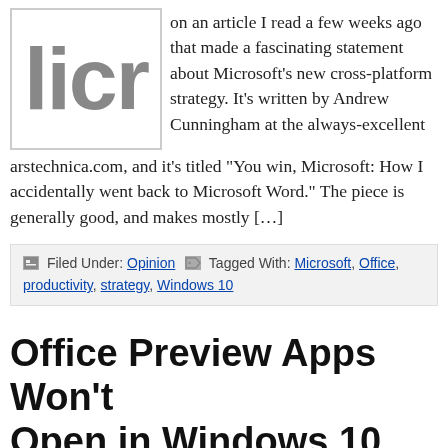[Figure (logo): Partial logo showing letters 'licr' in large bold gray sans-serif font inside a bordered box]
on an article I read a few weeks ago that made a fascinating statement about Microsoft’s new cross-platform strategy. It’s written by Andrew Cunningham at the always-excellent arstechnica.com, and it’s titled “You win, Microsoft: How I accidentally went back to Microsoft Word.” The piece is generally good, and makes mostly […]
Filed Under: Opinion   Tagged With: Microsoft, Office, productivity, strategy, Windows 10
Office Preview Apps Won’t Open in Windows 10 Preview